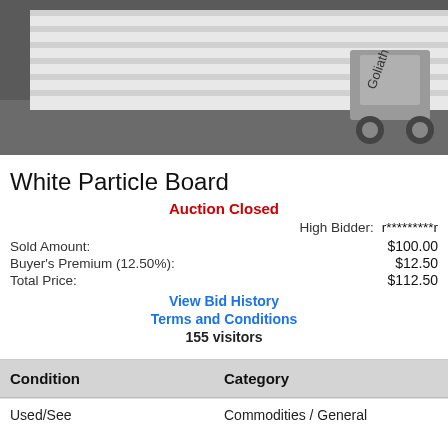[Figure (photo): Photo of stacked white particle boards on a pallet jack (Goliath brand) in a warehouse/storage area]
White Particle Board
Auction Closed
High Bidder: r*********r
Sold Amount: $100.00
Buyer's Premium (12.50%): $12.50
Total Price: $112.50
View Bid History
Terms and Conditions
155 visitors
| Condition | Category |
| --- | --- |
| Used/See | Commodities / General |